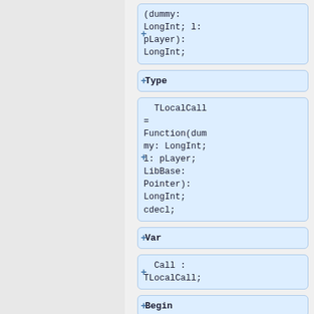[Figure (screenshot): Code editor showing Pascal/Delphi code blocks with expandable sections. Right panel shows collapsible code nodes including: a code block with '(dummy: LongInt; l: pLayer): LongInt;', a 'Type' keyword block, a code block with 'TLocalCall = Function(dummy: LongInt; l: pLayer; LibBase: Pointer): LongInt; cdecl;', a 'Var' keyword block, a code block with 'Call : TLocalCall;', and a 'Begin' keyword block. Each block has a '+' expand button on the left side.]